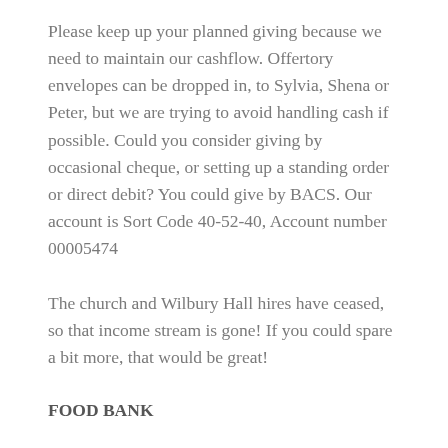Please keep up your planned giving because we need to maintain our cashflow. Offertory envelopes can be dropped in, to Sylvia, Shena or Peter, but we are trying to avoid handling cash if possible. Could you consider giving by occasional cheque, or setting up a standing order or direct debit? You could give by BACS. Our account is Sort Code 40-52-40, Account number 00005474
The church and Wilbury Hall hires have ceased, so that income stream is gone! If you could spare a bit more, that would be great!
FOOD BANK
Thank you for your support. In the current circumstances the Food bank is now able to accept...